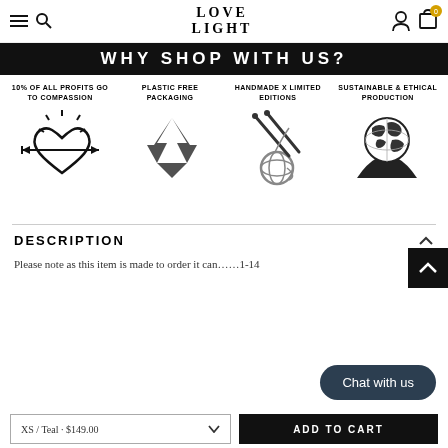LOVE LIGHT (navigation bar with hamburger, search, account, cart icons)
WHY SHOP WITH US?
10% OF ALL PROFITS GO TO COMPASSION
PLASTIC FREE PACKAGING
HANDMADE X LIMITED EDITIONS
SUSTAINABLE & ETHICAL PRODUCTION
[Figure (illustration): Heart with arrow through it radiating sunrays icon]
[Figure (illustration): Recycling symbol made of textured arrows]
[Figure (illustration): Knitting needles with yarn ball]
[Figure (illustration): Hand holding the Earth globe]
DESCRIPTION
Please note as this item is made to order it can... 1-14
XS / Teal · $149.00
ADD TO CART